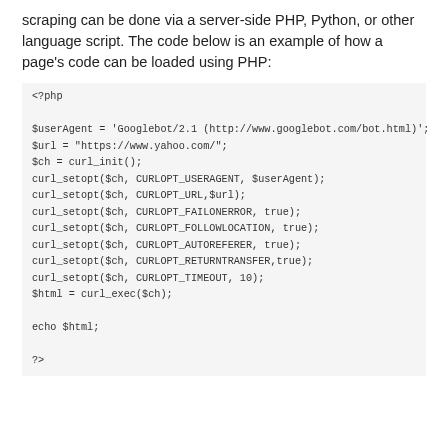scraping can be done via a server-side PHP, Python, or other language script. The code below is an example of how a page's code can be loaded using PHP:
<?php

$userAgent = 'Googlebot/2.1 (http://www.googlebot.com/bot.html)';
$url = "https://www.yahoo.com/";
$ch = curl_init();
curl_setopt($ch, CURLOPT_USERAGENT, $userAgent);
curl_setopt($ch, CURLOPT_URL,$url);
curl_setopt($ch, CURLOPT_FAILONERROR, true);
curl_setopt($ch, CURLOPT_FOLLOWLOCATION, true);
curl_setopt($ch, CURLOPT_AUTOREFERER, true);
curl_setopt($ch, CURLOPT_RETURNTRANSFER,true);
curl_setopt($ch, CURLOPT_TIMEOUT, 10);
$html = curl_exec($ch);

echo $html;

?>